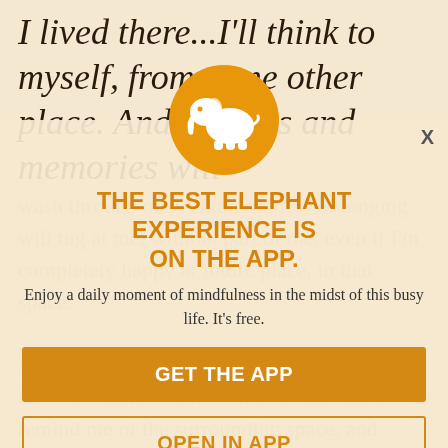I lived there...I'll think to myself, from some other place. And feelings and memories will wash through me. A kind sadness of longing will tug at me, without part of me, even if I'm completely happy at future place, in that space.
[Figure (logo): White elephant silhouette on orange/amber circular background — Elephant Journal app icon]
THE BEST ELEPHANT EXPERIENCE IS ON THE APP.
Enjoy a daily moment of mindfulness in the midst of this busy life. It's free.
GET THE APP
OPEN IN APP